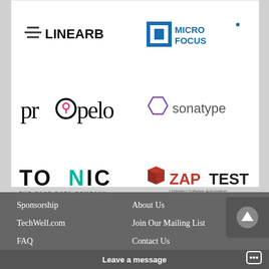[Figure (logo): LinearB logo - horizontal lines icon with LINEARB text]
[Figure (logo): Micro Focus logo - blue square bracket icon with MICRO FOCUS text in blue]
[Figure (logo): propelo logo - text logo with stylized o containing flame icon]
[Figure (logo): sonatype logo - hexagon outline icon with sonatype text]
[Figure (logo): TONIC THE FAKE DATA COMPANY logo - bold uppercase TONIC with teal N]
[Figure (logo): ZAPTEST logo - red 3D cube icon with ZAP in red bold and TEST in dark, Unlimited Software Automation subtitle]
Sponsorship
TechWell.com
FAQ
About Us
Join Our Mailing List
Contact Us
Leave a message